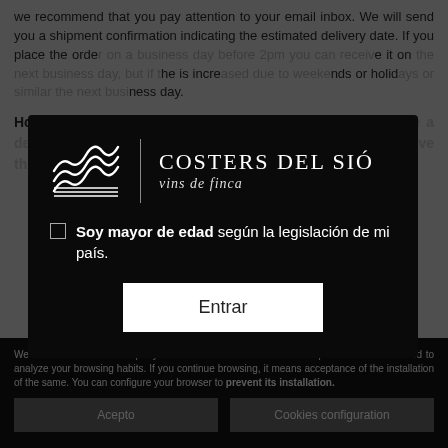we recommend that you pay attention to your email inbox. We will send you a shipment confirmation indicating the estimated delivery date. If you place the order on a business day before 2pm you can receive it on the next business day, but if the time is increased due to weekends or holidays the next business day.
How can I... [partially obscured] that to choose... [partially obscured] on the...
El celler ... Agost. Les comandes ... l'Agost.
La bodega ... Agosto (fechas incluidas). Los pedidos entre estas fechas se enviarán el...
[Figure (logo): Costers del Sió winery logo — mountains graphic with text 'COSTERS DEL SIÓ vins de finca']
Soy mayor de edad según la legislación de mi país.
Entrar
We use our own and third party cookies to collect information to improve our services and to analyze your browsing habits. If you continue browsing, it means acceptance of the installation of the same. You can configure your browser to prevent its installation.
Acepto
Cookies configuration